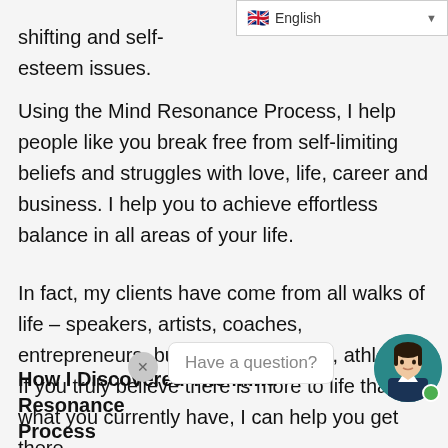🇬🇧 English
shifting and self-esteem issues.
Using the Mind Resonance Process, I help people like you break free from self-limiting beliefs and struggles with love, life, career and business. I help you to achieve effortless balance in all areas of your life.
In fact, my clients have come from all walks of life – speakers, artists, coaches, entrepreneurs, business, managers, athletes. If you truly believe there is more to life than what you currently have, I can help you get there.
[Figure (illustration): Chat widget with close button, 'Have a question?' speech bubble, and avatar of a woman with dark hair]
How I Discovered The Mind Resonance Process